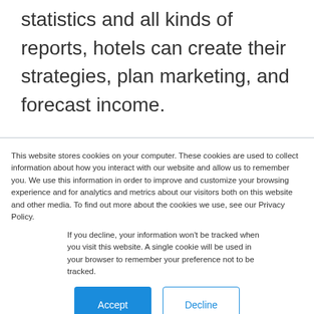statistics and all kinds of reports, hotels can create their strategies, plan marketing, and forecast income.
This website stores cookies on your computer. These cookies are used to collect information about how you interact with our website and allow us to remember you. We use this information in order to improve and customize your browsing experience and for analytics and metrics about our visitors both on this website and other media. To find out more about the cookies we use, see our Privacy Policy.
If you decline, your information won't be tracked when you visit this website. A single cookie will be used in your browser to remember your preference not to be tracked.